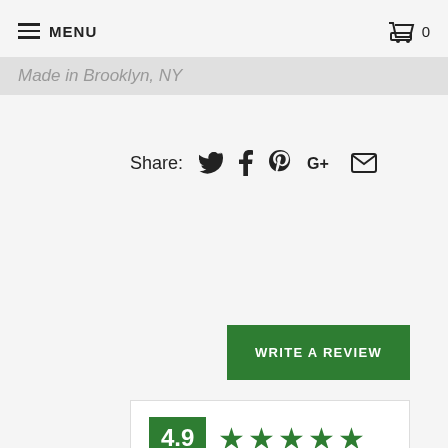MENU  0
Made in Brooklyn, NY
Share:
[Figure (infographic): Green WRITE A REVIEW button]
[Figure (infographic): Rating summary: 4.9 stars, Based on 195 reviews, with bar chart breakdown: 5 Stars 183, 4 Stars 10, 3 Stars 2, 2 Stars 0, 1 Star 0]